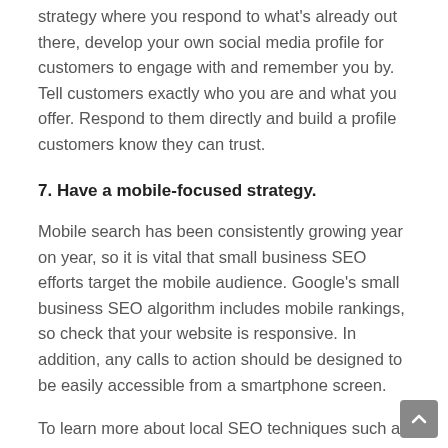strategy where you respond to what's already out there, develop your own social media profile for customers to engage with and remember you by. Tell customers exactly who you are and what you offer. Respond to them directly and build a profile customers know they can trust.
7. Have a mobile-focused strategy.
Mobile search has been consistently growing year on year, so it is vital that small business SEO efforts target the mobile audience. Google's small business SEO algorithm includes mobile rankings, so check that your website is responsive. In addition, any calls to action should be designed to be easily accessible from a smartphone screen.
To learn more about local SEO techniques such as 'Google My Business', check out our article here.
For more information about how AMG Digital can assist